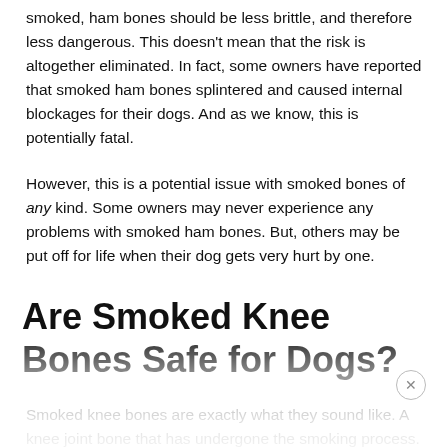smoked, ham bones should be less brittle, and therefore less dangerous. This doesn't mean that the risk is altogether eliminated. In fact, some owners have reported that smoked ham bones splintered and caused internal blockages for their dogs. And as we know, this is potentially fatal.
However, this is a potential issue with smoked bones of any kind. Some owners may never experience any problems with smoked ham bones. But, others may be put off for life when their dog gets very hurt by one.
Are Smoked Knee Bones Safe for Dogs?
Smoked knee bones are exactly what they sound like. A knee joint bone that has undergone the smoking process. The type meat that this bone comes from will vary, so make sure to che